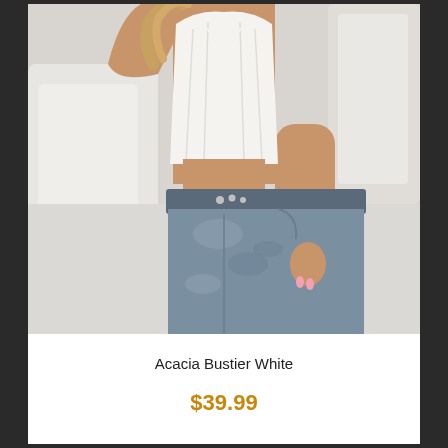[Figure (photo): Fashion product photo of a woman wearing a white bustier corset top paired with acid-wash light blue high-waisted jeans, posed against white bedding background.]
Acacia Bustier White
$39.99